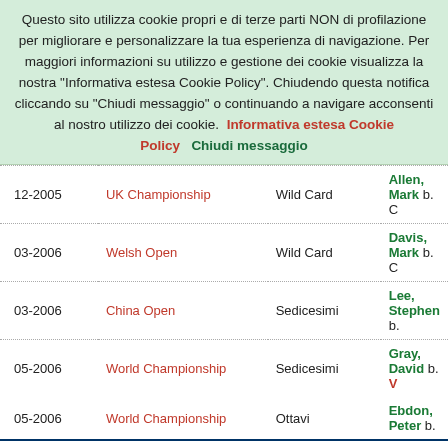Questo sito utilizza cookie propri e di terze parti NON di profilazione per migliorare e personalizzare la tua esperienza di navigazione. Per maggiori informazioni su utilizzo e gestione dei cookie visualizza la nostra "Informativa estesa Cookie Policy". Chiudendo questa notifica cliccando su "Chiudi messaggio" o continuando a navigare acconsenti al nostro utilizzo dei cookie.  Informativa estesa Cookie Policy    Chiudi messaggio
| Data | Torneo | Turno | Incontro |
| --- | --- | --- | --- |
| 12-2005 | UK Championship | Wild Card | Allen, Mark b. C… |
| 03-2006 | Welsh Open | Wild Card | Davis, Mark b. C… |
| 03-2006 | China Open | Sedicesimi | Lee, Stephen b. … |
| 05-2006 | World Championship | Sedicesimi | Gray, David b. V… |
| 05-2006 | World Championship | Ottavi | Ebdon, Peter b. … |
Record di David Gray nella stagione 2005/2006: 4 - 5
Stagione 2004/2005 (mostra/nascondi)
| Data | Torneo | Turno | Incontro |
| --- | --- | --- | --- |
| 10-2004 | Grand Prix | Trentaduesimi | Gray, David b. W… |